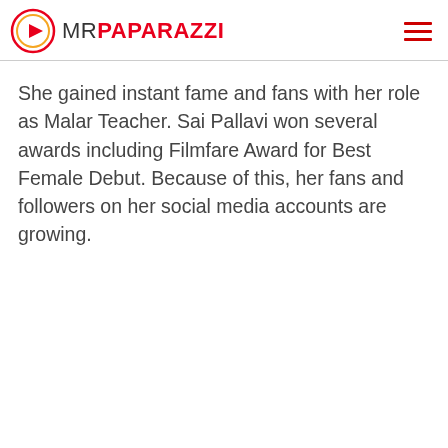MR PAPARAZZI
She gained instant fame and fans with her role as Malar Teacher. Sai Pallavi won several awards including Filmfare Award for Best Female Debut. Because of this, her fans and followers on her social media accounts are growing.